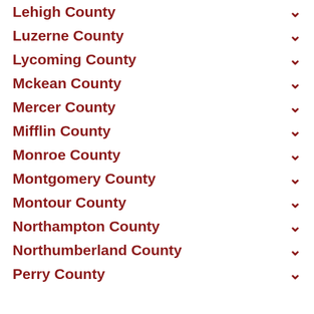Lehigh County
Luzerne County
Lycoming County
Mckean County
Mercer County
Mifflin County
Monroe County
Montgomery County
Montour County
Northampton County
Northumberland County
Perry County